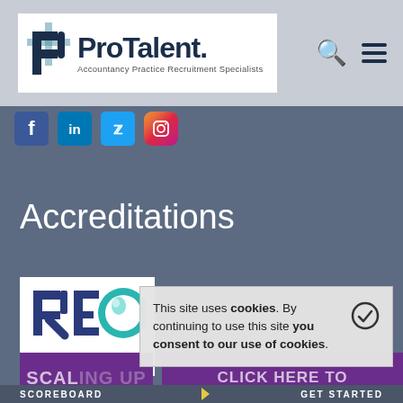ProTalent. Accountancy Practice Recruitment Specialists
[Figure (logo): ProTalent logo with P icon and tagline 'Accountancy Practice Recruitment Specialists']
[Figure (infographic): Social media icons: Facebook, LinkedIn, Twitter, Instagram]
Accreditations
[Figure (logo): REC Member logo - Recruitment and Employment Confederation membership badge]
This site uses cookies. By continuing to use this site you consent to our use of cookies.
[Figure (infographic): Scaling Up Scoreboard banner - purple background with 'SCALING UP' and 'CLICK HERE TO' text, 'SCOREBOARD' label at bottom]
SCOREBOARD    GET STARTED